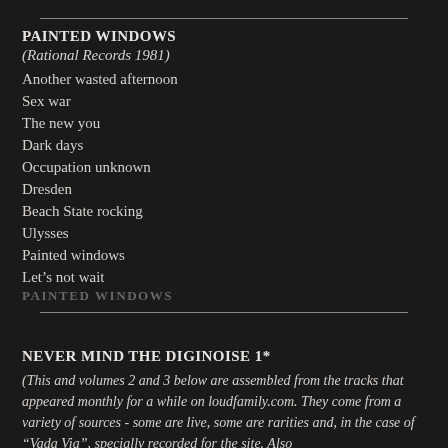PAINTED WINDOWS
(Rational Records 1981)
Another wasted afternoon
Sex war
The new you
Dark days
Occupation unknown
Dresden
Beach State rocking
Ulysses
Painted windows
Let's not wait
PAINTED WINDOWS
NEVER MIND THE DIGINOISE 1*
(This and volumes 2 and 3 below are assembled from the tracks that appeared monthly for a while on loudfamily.com. They come from a variety of sources - some are live, some are rarities and, in the case of "Vada Via", specially recorded for the site. Also